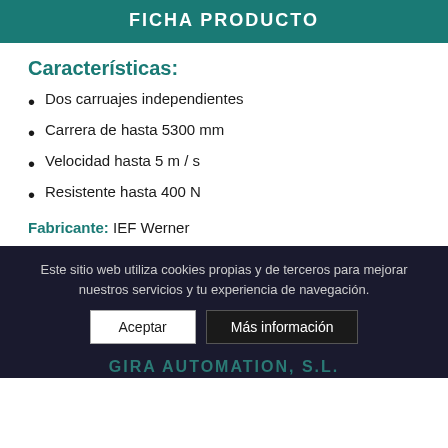FICHA PRODUCTO
Características:
Dos carruajes independientes
Carrera de hasta 5300 mm
Velocidad hasta 5 m / s
Resistente hasta 400 N
Fabricante: IEF Werner
Este sitio web utiliza cookies propias y de terceros para mejorar nuestros servicios y tu experiencia de navegación.
Aceptar   Más información
GIRA AUTOMATION, S.L.